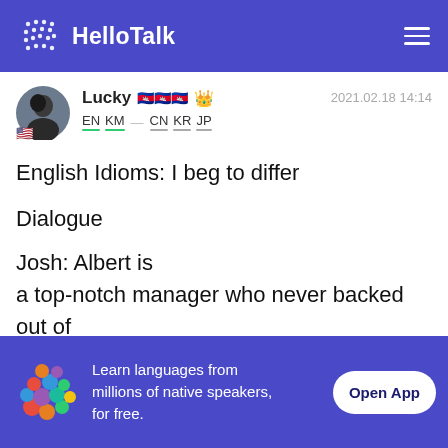HelloTalk
Lucky 🇰🇭🇰🇭🇰🇭 👑  EN KM — CN KR JP  2021.02.18 14:14
English Idioms: I beg to differ
Dialogue
Josh: Albert is a top-notch manager who never backed out of any agreement.
Learn languages from millions of native speakers, for free.  Open App